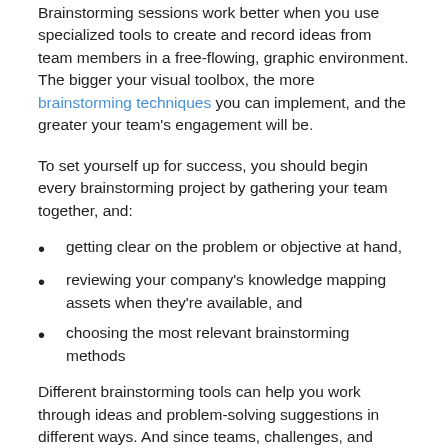Brainstorming sessions work better when you use specialized tools to create and record ideas from team members in a free-flowing, graphic environment. The bigger your visual toolbox, the more brainstorming techniques you can implement, and the greater your team's engagement will be.
To set yourself up for success, you should begin every brainstorming project by gathering your team together, and:
getting clear on the problem or objective at hand,
reviewing your company's knowledge mapping assets when they're available, and
choosing the most relevant brainstorming methods
Different brainstorming tools can help you work through ideas and problem-solving suggestions in different ways. And since teams, challenges, and goals vary, it's worth trying out a variety of tools to determine which ones work